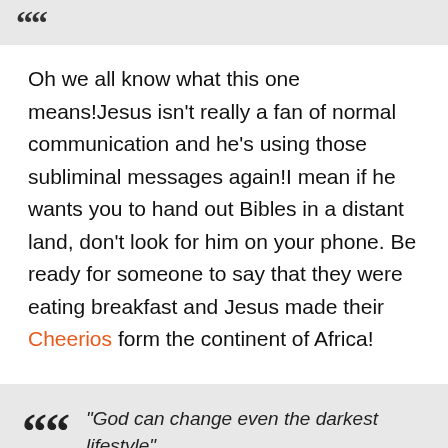[Figure (other): Gray quote box at top with large quotation mark icon visible at top of page]
Oh we all know what this one means!Jesus isn't really a fan of normal communication and he's using those subliminal messages again!I mean if he wants you to hand out Bibles in a distant land, don't look for him on your phone. Be ready for someone to say that they were eating breakfast and Jesus made their Cheerios form the continent of Africa!
"God can change even the darkest lifestyle"
You mentioned that your third cousin in Oregon is an atheist Now the conversation is about the evangelization plan is